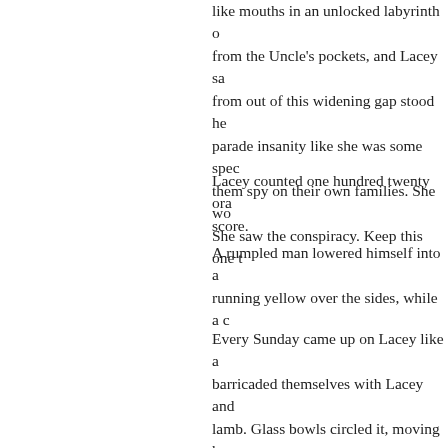like mouths in an unlocked labyrinth of from the Uncle's pockets, and Lacey sa from out of this widening gap stood her parade insanity like she was some spect them spy on their own families. She wo She saw the conspiracy. Keep this one t
Lacey counted one hundred twenty oran score.
A rumpled man lowered himself into a s running yellow over the sides, while a c
Every Sunday came up on Lacey like a barricaded themselves with Lacey and h lamb. Glass bowls circled it, moving ha beets. The stench of crusted meat was s shuddering grasp of the following day. his suit, black and buttoned as the law. and trembled. Her parents would smile long dead, but strangely honorable in its